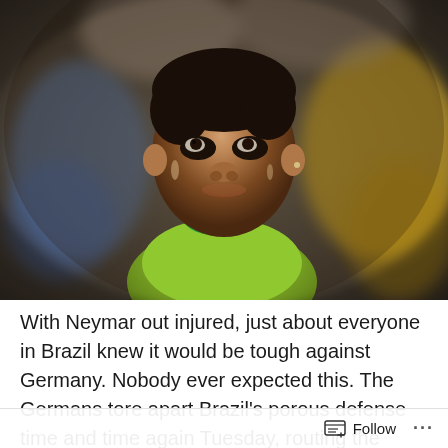[Figure (photo): A young Brazilian boy wearing a yellow and green Brazil soccer jersey looking upward with tearful eyes, surrounded by a crowd. Emotional scene from the 2014 World Cup semifinal Brazil vs Germany.]
With Neymar out injured, just about everyone in Brazil knew it would be tough against Germany. Nobody ever expected this. The Germans tore apart Brazil's porous defense time and time again Tuesday, routing the hosts 7-1 in the World Cup semifinals, the largest margin of
Follow ···